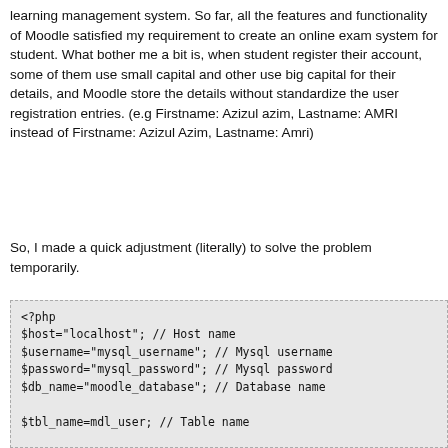learning management system. So far, all the features and functionality of Moodle satisfied my requirement to create an online exam system for student. What bother me a bit is, when student register their account, some of them use small capital and other use big capital for their details, and Moodle store the details without standardize the user registration entries. (e.g Firstname: Azizul azim, Lastname: AMRI instead of Firstname: Azizul Azim, Lastname: Amri)
So, I made a quick adjustment (literally) to solve the problem temporarily.
[Figure (screenshot): PHP code block showing database connection and SQL query setup for Moodle user table]